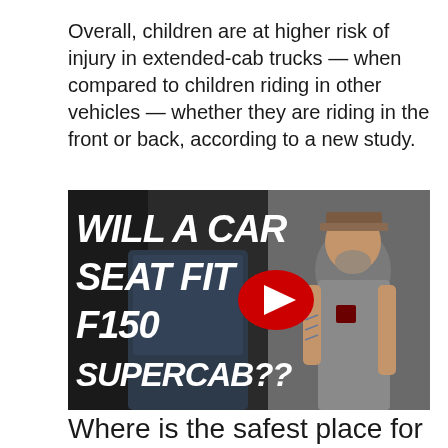Overall, children are at higher risk of injury in extended-cab trucks — when compared to children riding in other vehicles — whether they are riding in the front or back, according to a new study.
[Figure (screenshot): YouTube video thumbnail showing a man standing next to a truck with bold italic white text reading 'WILL A CAR SEAT FIT F150 SUPERCAB??' and a YouTube play button in the center]
Where is the safest place for a car seat in a truck?